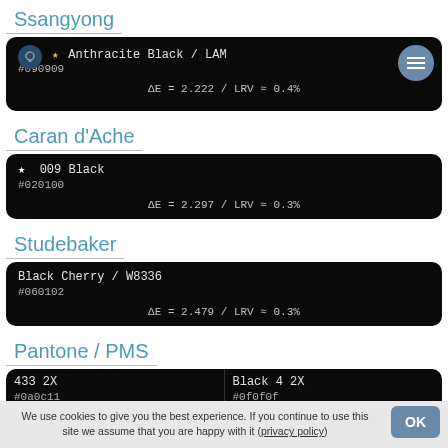Ssangyong
★ Anthracite Black / LAM
#090909
ΔE = 2.222 / LRV ≈ 0.4%
Caran d'Ache
★  009 Black
#020100
ΔE = 2.297 / LRV ≈ 0.3%
Studebaker
Black Cherry / W8336
#060102
ΔE = 2.479 / LRV ≈ 0.3%
Pantone / PMS
433 2X
#0a0c11 | Black 4 2X
#0f0f0f
We use cookies to give you the best experience. If you continue to use this site we assume that you are happy with it (privacy policy)